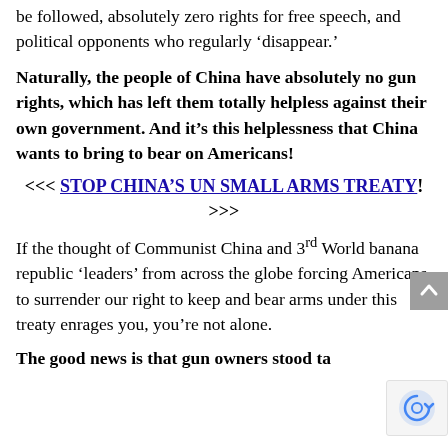be followed, absolutely zero rights for free speech, and political opponents who regularly ‘disappear.’
Naturally, the people of China have absolutely no gun rights, which has left them totally helpless against their own government. And it’s this helplessness that China wants to bring to bear on Americans!
<<< STOP CHINA’S UN SMALL ARMS TREATY! >>>
If the thought of Communist China and 3rd World banana republic ‘leaders’ from across the globe forcing Americans to surrender our right to keep and bear arms under this treaty enrages you, you’re not alone.
The good news is that gun owners stood ta…